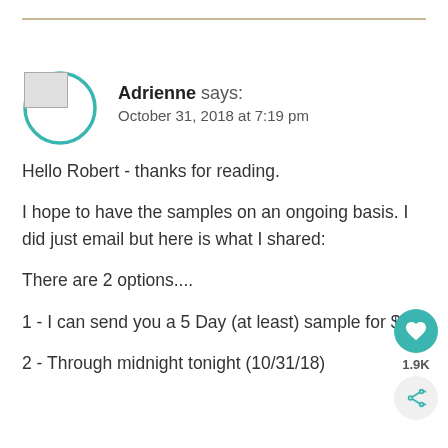Adrienne says:
October 31, 2018 at 7:19 pm
Hello Robert - thanks for reading.
I hope to have the samples on an ongoing basis. I did just email but here is what I shared:
There are 2 options....
1 - I can send you a 5 Day (at least) sample for $25
2 - Through midnight tonight (10/31/18)